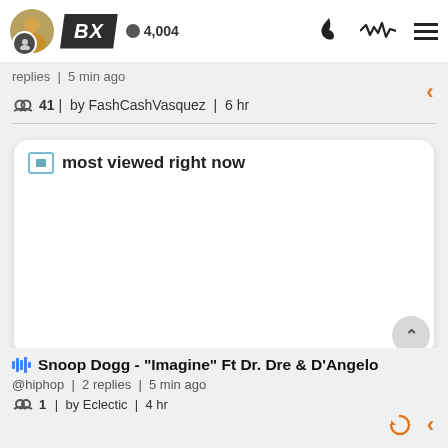BX | 4,004
replies | 5 min ago
41 | by FashCashVasquez | 6 hr
[Figure (screenshot): most viewed right now - content card with image placeholder]
Snoop Dogg - "Imagine" Ft Dr. Dre & D'Angelo
@hiphop | 2 replies | 5 min ago
1 | by Eclectic | 4 hr